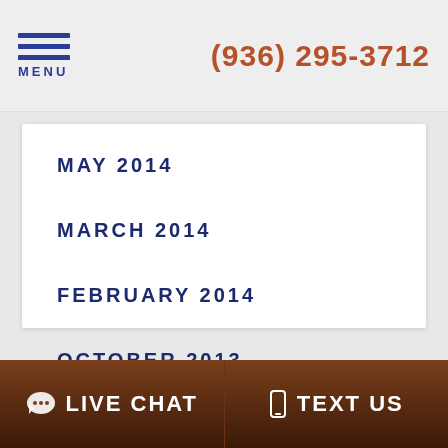MENU | (936) 295-3712
MAY 2014
MARCH 2014
FEBRUARY 2014
OCTOBER 2013
LIVE CHAT | TEXT US